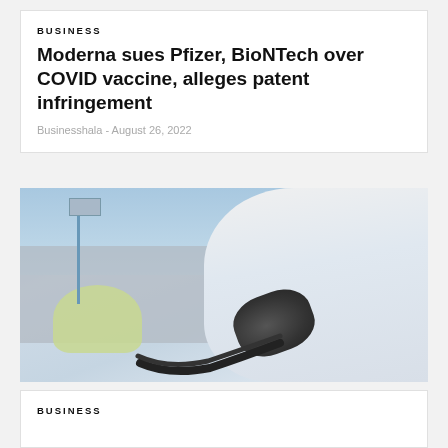BUSINESS
Moderna sues Pfizer, BioNTech over COVID vaccine, alleges patent infringement
Businesshala  -  August 26, 2022
[Figure (photo): Photo of an electric vehicle being charged, showing a charging plug inserted into a white car, with trees, a building, and a street sign in the background]
BUSINESS